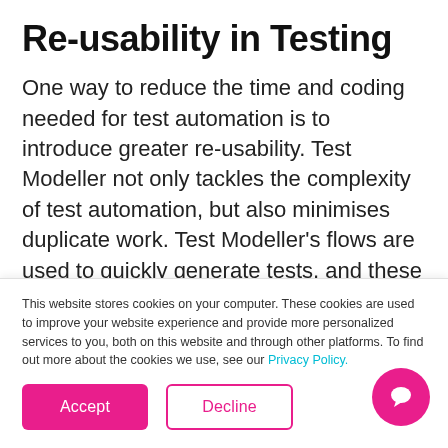Re-usability in Testing
One way to reduce the time and coding needed for test automation is to introduce greater re-usability. Test Modeller not only tackles the complexity of test automation, but also minimises duplicate work. Test Modeller’s flows are used to quickly generate tests, and these flows are then re-usable in each new iteration. Furthermore, flows made...
This website stores cookies on your computer. These cookies are used to improve your website experience and provide more personalized services to you, both on this website and through other platforms. To find out more about the cookies we use, see our Privacy Policy.